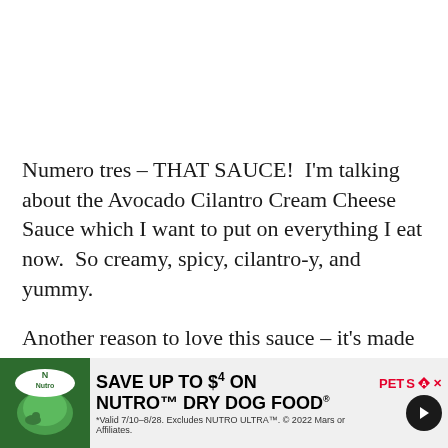Numero tres – THAT SAUCE!  I'm talking about the Avocado Cilantro Cream Cheese Sauce which I want to put on everything I eat now.  So creamy, spicy, cilantro-y, and yummy.
Another reason to love this sauce – it's made with GO Veggie! Dairy Free Classic Plain Cream Cheese, which I love to use in place of regular cream cheese because it has less calories, fat, ar...
[Figure (other): Advertisement banner: 'SAVE UP TO $4 ON NUTRO DRY DOG FOOD' with Nutro and PetSmart logos, green background with dog food imagery on the left, arrow button on the right. Fine print: *Valid 7/10–8/28. Excludes NUTRO ULTRA™. © 2022 Mars or Affiliates.]